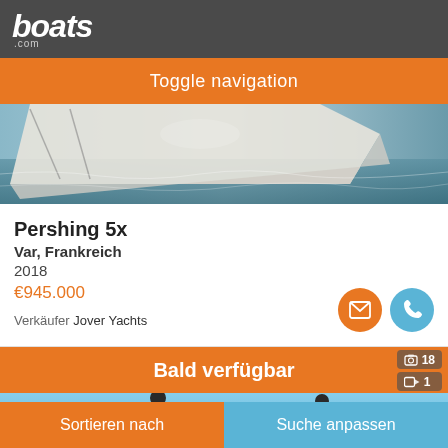boats.com
Toggle navigation
[Figure (photo): Aerial/close-up view of a white luxury yacht deck on water]
Pershing 5x
Var, Frankreich
2018
€945.000
Verkäufer Jover Yachts
Bald verfügbar
[Figure (photo): Black luxury yacht on water with blue sky background]
Sortieren nach
Suche anpassen